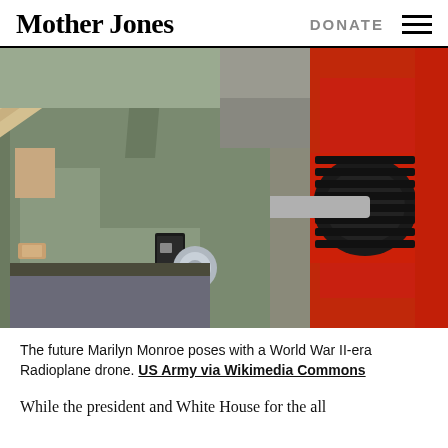Mother Jones | DONATE
[Figure (photo): A woman (the future Marilyn Monroe) in a gray work shirt, wearing a watch and ring, holding a large wooden propeller blade for a World War II-era Radioplane drone. In the background is a large red and black engine or machine. Industrial factory setting.]
The future Marilyn Monroe poses with a World War II-era Radioplane drone. US Army via Wikimedia Commons
While the president and White House for the all